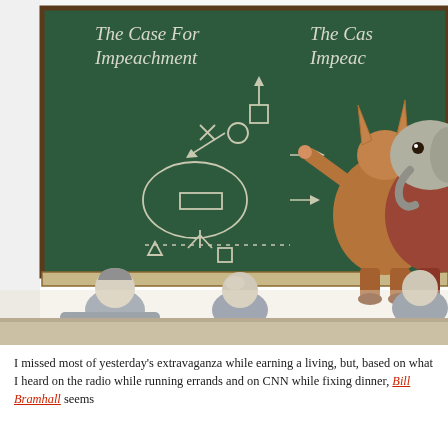[Figure (illustration): Political cartoon showing a donkey (Democrat) writing football-play-style diagrams on a green chalkboard labeled 'The Case For Impeachment' (partially visible on right side too), while an elephant (Republican) looks on skeptically. Several human figures are seated in the foreground facing the chalkboard.]
I missed most of yesterday's extravaganza while earning a living, but, based on what I heard on the radio while running errands and on CNN while fixing dinner, Bill Bramhall seems